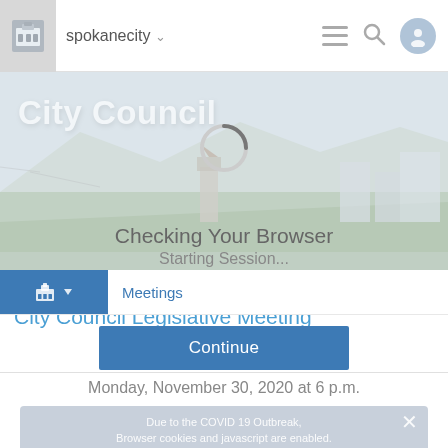spokanecity
[Figure (screenshot): City council hero banner with aerial photo of Spokane city and a clock tower. Text overlay reads 'City Council'. Browser check overlay with spinner, 'Checking Your Browser' and 'Starting Session...' text.]
Checking Your Browser
Starting Session...
Meetings
City Council Legislative Meeting
Continue
Monday, November 30, 2020 at 6 p.m.
Due to the COVID 19 Outbreak,
Browser cookies and javascript are enabled.
Broadcast is available Electronically.
Email Coun… …city.com
Player error